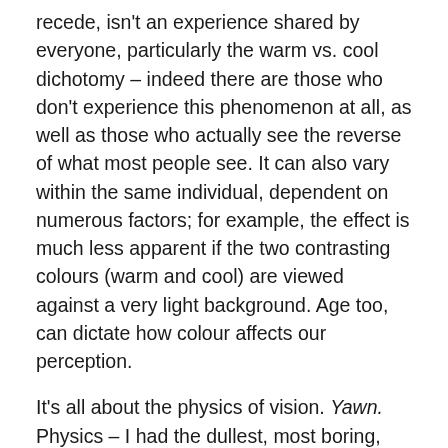recede, isn't an experience shared by everyone, particularly the warm vs. cool dichotomy – indeed there are those who don't experience this phenomenon at all, as well as those who actually see the reverse of what most people see. It can also vary within the same individual, dependent on numerous factors; for example, the effect is much less apparent if the two contrasting colours (warm and cool) are viewed against a very light background. Age too, can dictate how colour affects our perception.
It's all about the physics of vision. Yawn. Physics – I had the dullest, most boring, uninspiring, high school physics teacher ever. Last period of the day. Double yawn. But I digress. To put it in simplest terms, it has to do with light rays of differing wavelengths and where they refract and converge on our retinas.